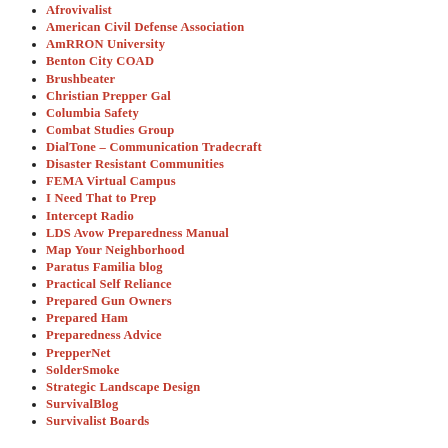Afrovivalist
American Civil Defense Association
AmRRON University
Benton City COAD
Brushbeater
Christian Prepper Gal
Columbia Safety
Combat Studies Group
DialTone – Communication Tradecraft
Disaster Resistant Communities
FEMA Virtual Campus
I Need That to Prep
Intercept Radio
LDS Avow Preparedness Manual
Map Your Neighborhood
Paratus Familia blog
Practical Self Reliance
Prepared Gun Owners
Prepared Ham
Preparedness Advice
PrepperNet
SolderSmoke
Strategic Landscape Design
SurvivalBlog
Survivalist Boards